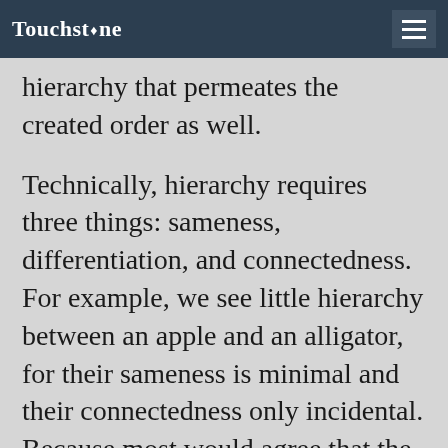Touchstone
hierarchy that permeates the created order as well.
Technically, hierarchy requires three things: sameness, differentiation, and connectedness. For example, we see little hierarchy between an apple and an alligator, for their sameness is minimal and their connectedness only incidental. Because most would agree that the Godhead represents complete connectedness, the questions that require our attention are the nature of